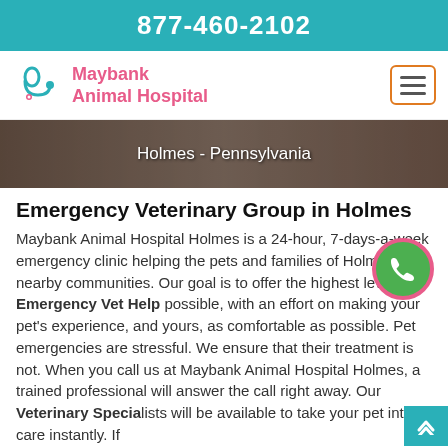877-460-2102
[Figure (logo): Maybank Animal Hospital logo with teal stethoscope icon and pink text reading Maybank Animal Hospital]
[Figure (photo): Hero banner photo with text Holmes - Pennsylvania]
Emergency Veterinary Group in Holmes
Maybank Animal Hospital Holmes is a 24-hour, 7-days-a-week emergency clinic helping the pets and families of Holmes and nearby communities. Our goal is to offer the highest level of Emergency Vet Help possible, with an effort on making your pet's experience, and yours, as comfortable as possible. Pet emergencies are stressful. We ensure that their treatment is not. When you call us at Maybank Animal Hospital Holmes, a trained professional will answer the call right away. Our Veterinary Specialists will be available to take your pet into care instantly. If